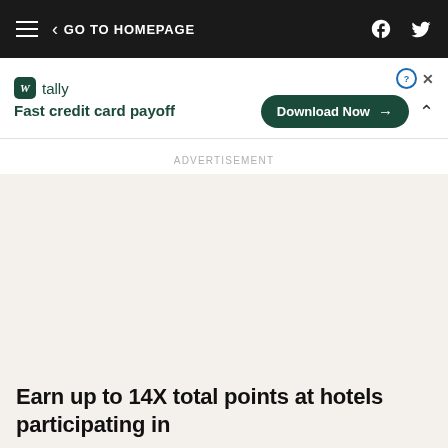GO TO HOMEPAGE
[Figure (infographic): Tally app advertisement banner: logo with green icon, tagline 'Fast credit card payoff', Download Now button, close and info controls, collapse chevron]
ADVERTISEMENT
Earn up to 14X total points at hotels participating in